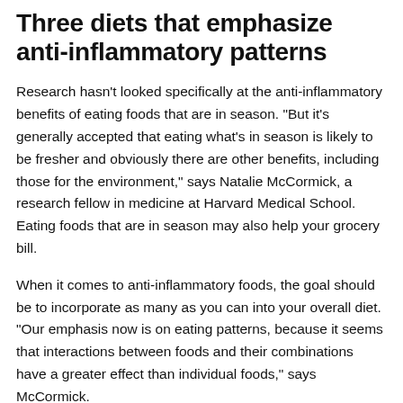Three diets that emphasize anti-inflammatory patterns
Research hasn't looked specifically at the anti-inflammatory benefits of eating foods that are in season. "But it's generally accepted that eating what's in season is likely to be fresher and obviously there are other benefits, including those for the environment," says Natalie McCormick, a research fellow in medicine at Harvard Medical School. Eating foods that are in season may also help your grocery bill.
When it comes to anti-inflammatory foods, the goal should be to incorporate as many as you can into your overall diet. "Our emphasis now is on eating patterns, because it seems that interactions between foods and their combinations have a greater effect than individual foods," says McCormick.
Three diets in particular, she says, contain the right mix of